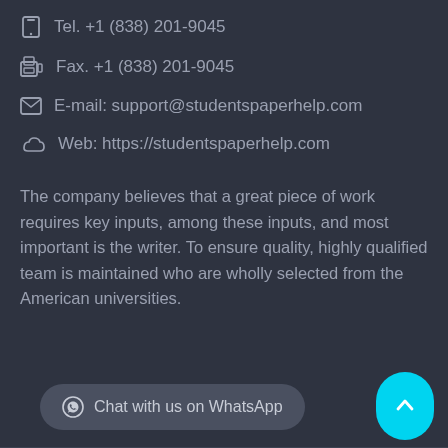Tel. +1 (838) 201-9045
Fax. +1 (838) 201-9045
E-mail: support@studentspaperhelp.com
Web: https://studentspaperhelp.com
The company believes that a great piece of work requires key inputs, among these inputs, and most important is the writer. To ensure quality, highly qualified team is maintained who are wholly selected from the American universities.
Chat with us on WhatsApp